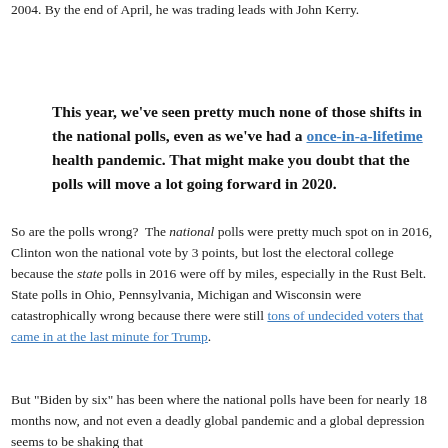2004. By the end of April, he was trading leads with John Kerry.
This year, we've seen pretty much none of those shifts in the national polls, even as we've had a once-in-a-lifetime health pandemic. That might make you doubt that the polls will move a lot going forward in 2020.
So are the polls wrong? The national polls were pretty much spot on in 2016, Clinton won the national vote by 3 points, but lost the electoral college because the state polls in 2016 were off by miles, especially in the Rust Belt. State polls in Ohio, Pennsylvania, Michigan and Wisconsin were catastrophically wrong because there were still tons of undecided voters that came in at the last minute for Trump.
But "Biden by six" has been where the national polls have been for nearly 18 months now, and not even a deadly global pandemic and a global depression seems to be shaking that